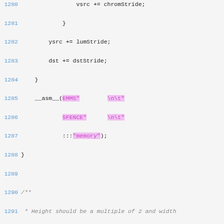[Figure (screenshot): Source code listing showing lines 1280-1298 of a C file with syntax highlighting. Code includes inline assembly (EMMS/SFENCE), a comment block about height/width multiples, and a static inline function declaration for yv12touyvy.]